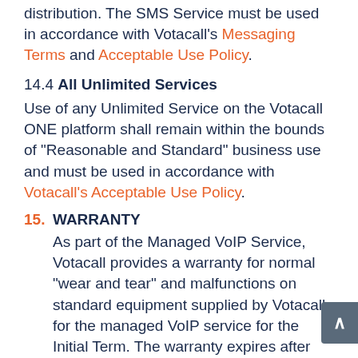distribution. The SMS Service must be used in accordance with Votacall's Messaging Terms and Acceptable Use Policy.
14.4 All Unlimited Services
Use of any Unlimited Service on the Votacall ONE platform shall remain within the bounds of "Reasonable and Standard" business use and must be used in accordance with Votacall's Acceptable Use Policy.
15. WARRANTY
As part of the Managed VoIP Service, Votacall provides a warranty for normal "wear and tear" and malfunctions on standard equipment supplied by Votacall for the managed VoIP service for the Initial Term. The warranty expires after the initial